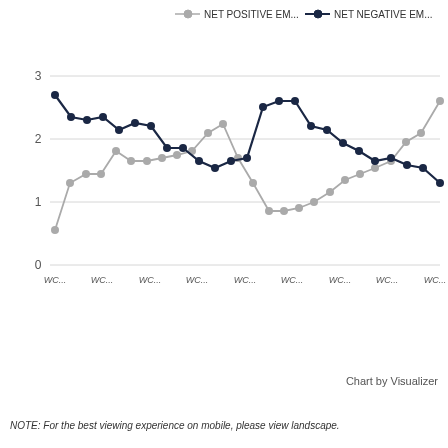[Figure (line-chart): ]
Chart by Visualizer
NOTE: For the best viewing experience on mobile, please view landscape.